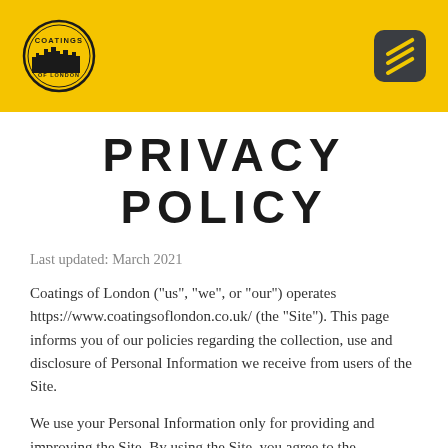[Figure (logo): Coatings of London circular logo with city skyline silhouette and menu icon (hamburger with diagonal lines on dark rounded square background) on yellow header bar]
PRIVACY POLICY
Last updated: March 2021
Coatings of London ("us", "we", or "our") operates https://www.coatingsoflondon.co.uk/ (the "Site"). This page informs you of our policies regarding the collection, use and disclosure of Personal Information we receive from users of the Site.
We use your Personal Information only for providing and improving the Site. By using the Site, you agree to the collection